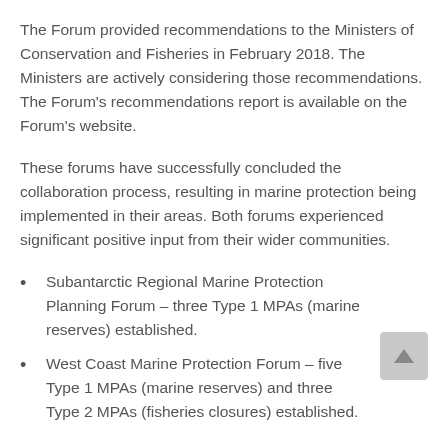The Forum provided recommendations to the Ministers of Conservation and Fisheries in February 2018. The Ministers are actively considering those recommendations. The Forum's recommendations report is available on the Forum's website.
These forums have successfully concluded the collaboration process, resulting in marine protection being implemented in their areas. Both forums experienced significant positive input from their wider communities.
Subantarctic Regional Marine Protection Planning Forum – three Type 1 MPAs (marine reserves) established.
West Coast Marine Protection Forum – five Type 1 MPAs (marine reserves) and three Type 2 MPAs (fisheries closures) established.
Useful information